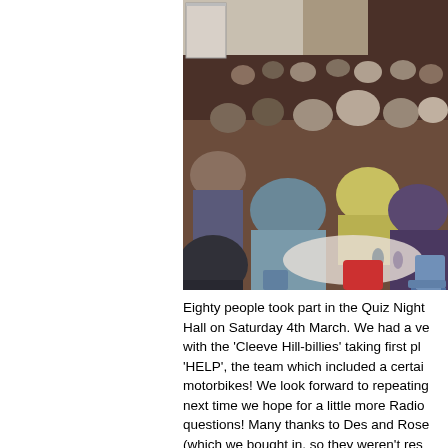[Figure (photo): Indoor photo of approximately eighty people seated at round tables in a hall, participating in a Quiz Night. People of various ages are visible, some sitting with drinks and papers on the tables. The room has dark wood panelling on the walls.]
Eighty people took part in the Quiz Night Hall on Saturday 4th March. We had a very with the 'Cleeve Hill-billies' taking first pla 'HELP', the team which included a certain motorbikes! We look forward to repeating next time we hope for a little more Radio questions! Many thanks to Des and Rose (which we bought in, so they weren't resp And his for recognising the change t